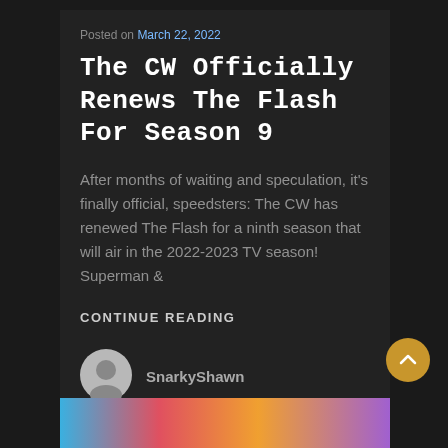Posted on March 22, 2022
The CW Officially Renews The Flash For Season 9
After months of waiting and speculation, it's finally official, speedsters: The CW has renewed The Flash for a ninth season that will air in the 2022-2023 TV season! Superman &
CONTINUE READING
[Figure (illustration): User avatar: circular grey silhouette of a person]
SnarkyShawn
[Figure (illustration): Colorful abstract image at the bottom]
[Figure (illustration): Gold circular scroll-to-top button with upward chevron]